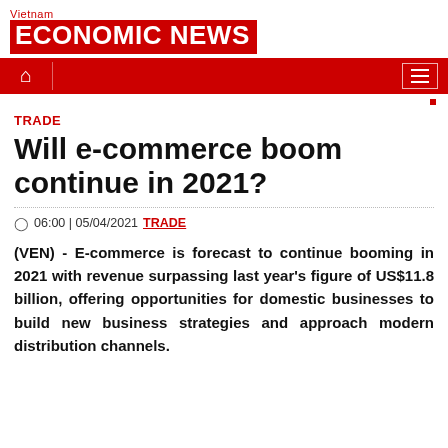Vietnam ECONOMIC NEWS
TRADE
Will e-commerce boom continue in 2021?
06:00 | 05/04/2021  TRADE
(VEN) - E-commerce is forecast to continue booming in 2021 with revenue surpassing last year's figure of US$11.8 billion, offering opportunities for domestic businesses to build new business strategies and approach modern distribution channels.